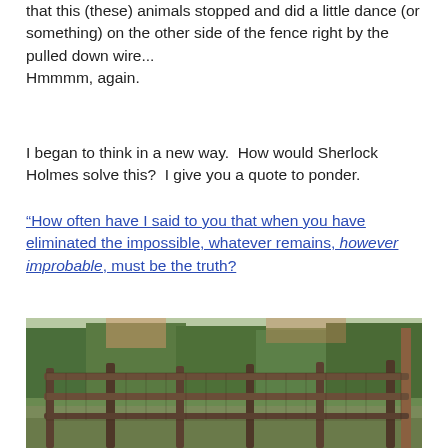that this (these) animals stopped and did a little dance (or something) on the other side of the fence right by the pulled down wire...
Hmmmm, again.
I began to think in a new way.  How would Sherlock Holmes solve this?  I give you a quote to ponder.
“How often have I said to you that when you have eliminated the impossible, whatever remains, however improbable, must be the truth?
[Figure (photo): Photograph of a wooden fence with wire mesh, trees and bushes visible in the background, outdoor rural setting.]